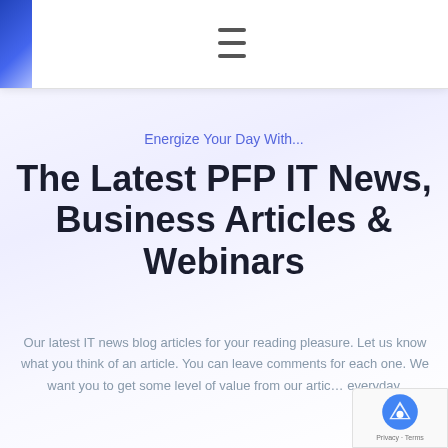Energize Your Day With...
The Latest PFP IT News, Business Articles & Webinars
Our latest IT news blog articles for your reading pleasure. Let us know what you think of an article. You can leave comments for each one. We want you to get some level of value from our articles everyday.